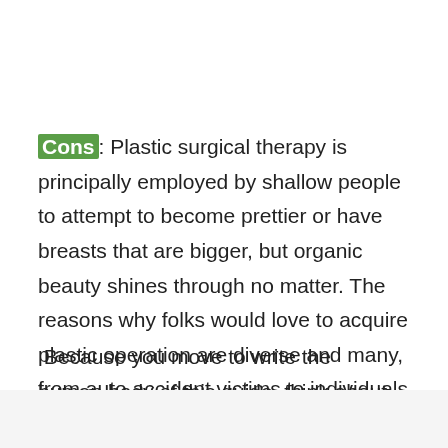Cons: Plastic surgical therapy is principally employed by shallow people to attempt to become prettier or have breasts that are bigger, but organic beauty shines through no matter. The reasons why folks would love to acquire plastic operation are diverse and many, from auto accident victims to individuals who indeed simply must make themselves attractive.
Because you move to write the human body of this guide, think about the root of plastic surgery, also as